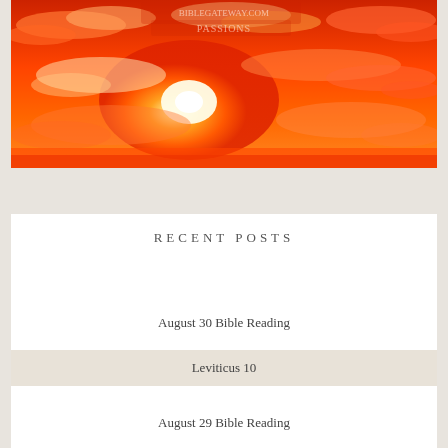[Figure (photo): Vibrant orange-red sunset sky with bright white sun glowing through dramatic clouds]
RECENT POSTS
August 30 Bible Reading
Leviticus 10
August 29 Bible Reading